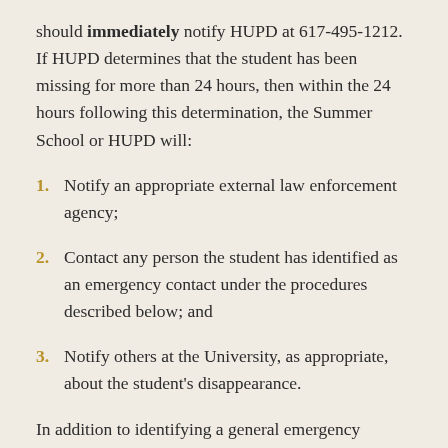should immediately notify HUPD at 617-495-1212. If HUPD determines that the student has been missing for more than 24 hours, then within the 24 hours following this determination, the Summer School or HUPD will:
Notify an appropriate external law enforcement agency;
Contact any person the student has identified as an emergency contact under the procedures described below; and
Notify others at the University, as appropriate, about the student's disappearance.
In addition to identifying a general emergency contact person, students residing in on-campus housing have the option to identify confidentially a